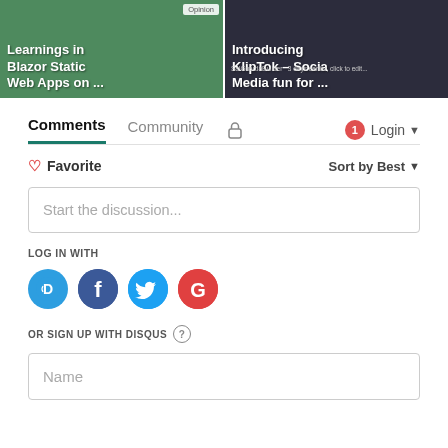[Figure (screenshot): Two article thumbnails side by side. Left: green background with bold white text 'Learnings in Blazor Static Web Apps on ...' and 'Opinion' badge. Right: dark background with bold white text 'Introducing KlipTok – Social Media fun for ...']
Comments  Community  🔒  1  Login
♡ Favorite  Sort by Best
Start the discussion...
LOG IN WITH
[Figure (infographic): Four social login icon circles: Disqus (blue D), Facebook (dark blue f), Twitter (light blue bird), Google (red G)]
OR SIGN UP WITH DISQUS ?
Name